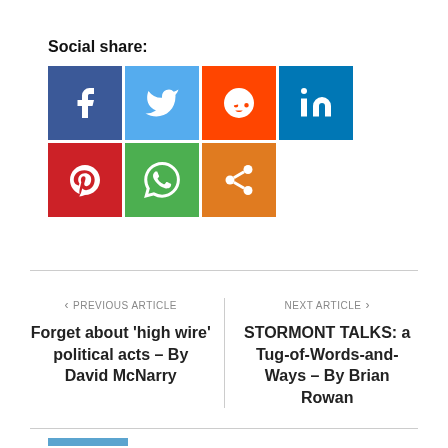Social share:
[Figure (infographic): Social share buttons: Facebook (blue), Twitter (light blue), Reddit (orange-red), LinkedIn (dark blue), Pinterest (red), WhatsApp (green), Share/other (orange)]
< PREVIOUS ARTICLE
Forget about ‘high wire’ political acts – By David McNarry
NEXT ARTICLE >
STORMONT TALKS: a Tug-of-Words-and-Ways – By Brian Rowan